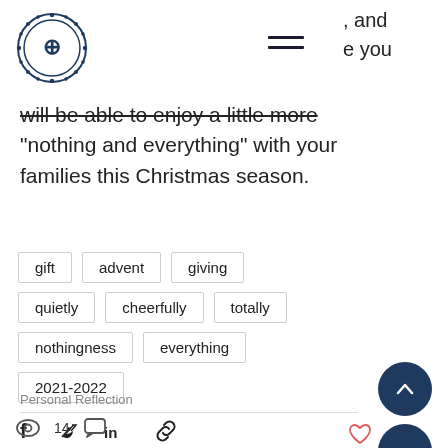...and ...e you
will be able to enjoy a little more "nothing and everything" with your families this Christmas season.
gift
advent
giving
quietly
cheerfully
totally
nothingness
everything
2021-2022
Personal Reflection